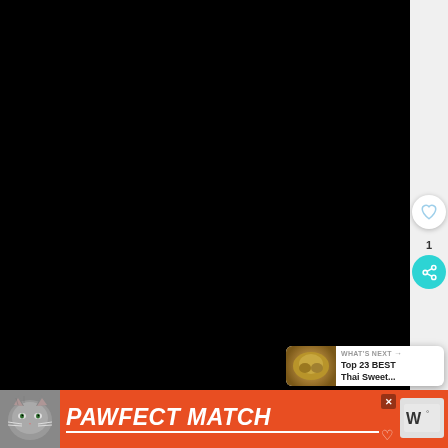[Figure (photo): Close-up photo of coconut cupcakes with cream cheese frosting and toasted coconut flakes on top, one cupcake with a bite taken out showing fluffy interior, on a wooden board background]
WHAT'S NEXT → Top 23 BEST Thai Sweet...
PAWFECT MATCH
1